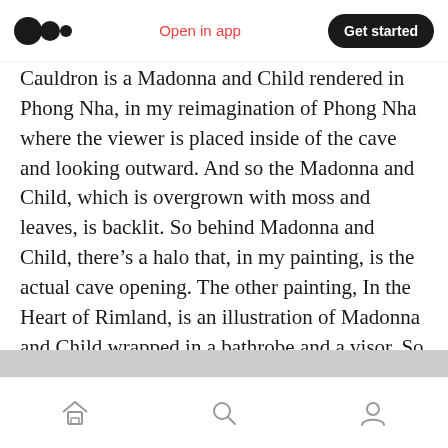Medium logo | Open in app | Get started
Cauldron is a Madonna and Child rendered in Phong Nha, in my reimagination of Phong Nha where the viewer is placed inside of the cave and looking outward. And so the Madonna and Child, which is overgrown with moss and leaves, is backlit. So behind Madonna and Child, there’s a halo that, in my painting, is the actual cave opening. The other painting, In the Heart of Rimland, is an illustration of Madonna and Child wrapped in a bathrobe and a visor. So hare, she’s placed in futuristic utopia like Forest City.”
Home | Search | Profile